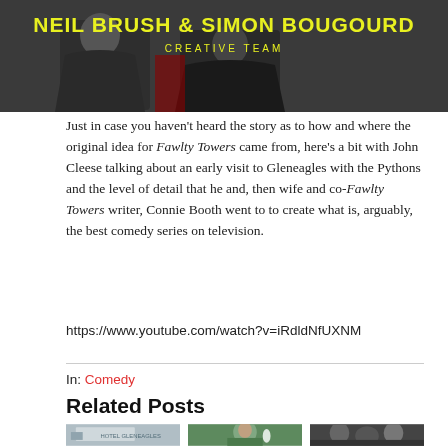[Figure (photo): Two people in dark jackets with yellow text overlay reading 'NEIL BRUSH & SIMON BOUGOURD CREATIVE TEAM']
Just in case you haven't heard the story as to how and where the original idea for Fawlty Towers came from, here's a bit with John Cleese talking about an early visit to Gleneagles with the Pythons and the level of detail that he and, then wife and co-Fawlty Towers writer, Connie Booth went to to create what is, arguably, the best comedy series on television.
https://www.youtube.com/watch?v=iRdldNfUXNM
In: Comedy
Related Posts
[Figure (photo): Photo of Hotel Gleneagles building exterior]
[Figure (photo): Photo of a man in blue shirt resting chin on hand, with white tulip]
[Figure (photo): Black and white photo of group of young people]